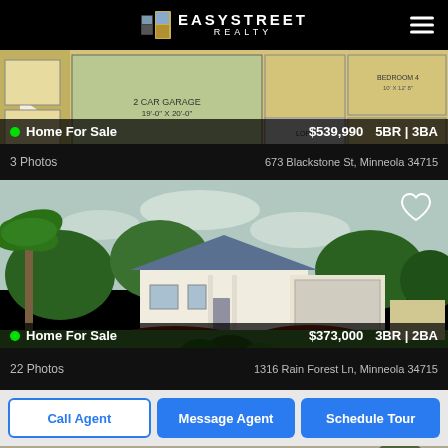EasyStreet Realty
[Figure (screenshot): Floor plan image for property at 673 Blackstone St, Minneola 34715]
Home For Sale   $539,990   5BR | 3BA
3 Photos   673 Blackstone St, Minneola 34715
[Figure (photo): Exterior photo of single-story ranch home with blue roof, white facade, two-car garage, green lawn, and palm tree at 1316 Rain Forest Ln, Minneola 34715]
Home For Sale   $373,000   3BR | 2BA
22 Photos   1316 Rain Forest Ln, Minneola 34715
Call Agent   Message Agent   Schedule Tour
[Figure (photo): Partial exterior photo of a third listing property]